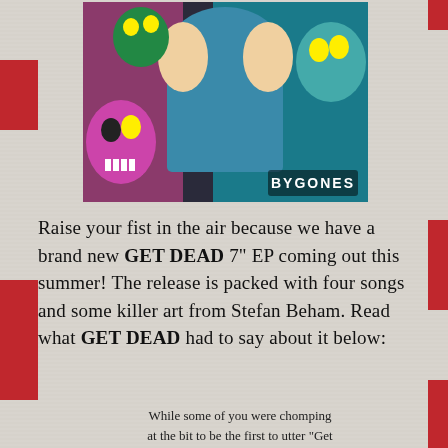[Figure (illustration): Horror punk album artwork showing a screaming woman with zombies/skulls surrounding her, teal and pink color scheme, with 'BYGONES' text in the lower right corner]
Raise your fist in the air because we have a brand new GET DEAD 7" EP coming out this summer! The release is packed with four songs and some killer art from Stefan Beham. Read what GET DEAD had to say about it below:
While some of you were chomping at the bit to be the first to utter "Get